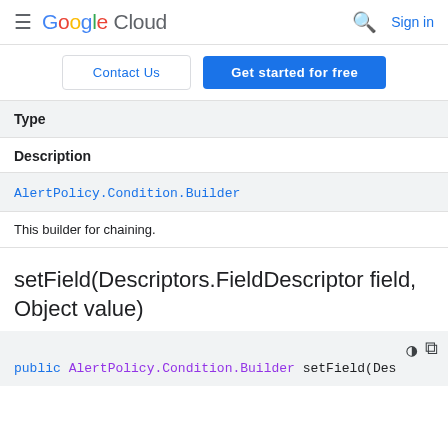Google Cloud  Sign in
Contact Us  Get started for free
| Type | Description |
| --- | --- |
| AlertPolicy.Condition.Builder | This builder for chaining. |
setField(Descriptors.FieldDescriptor field, Object value)
public AlertPolicy.Condition.Builder setField(Des